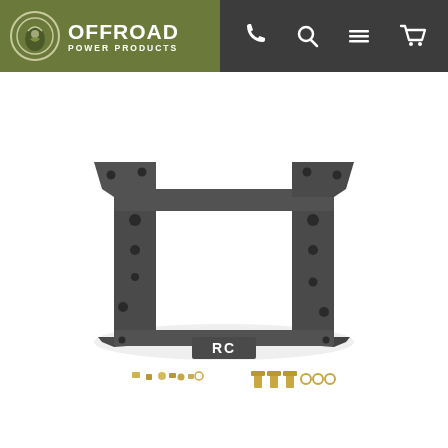OFFROAD POWER PRODUCTS — navigation header with phone, search, menu, and cart icons
[Figure (photo): Black metal mounting bracket/cradle with RC logo on the front center tab, surrounded by small gold hardware screws, bolts, washers and nuts laid out on a white background. The bracket is a rectangular frame with side flanges and mounting holes throughout.]